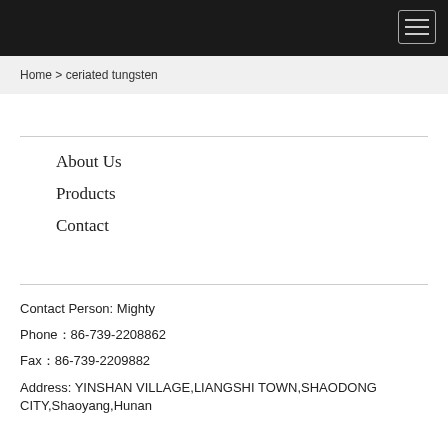Home > ceriated tungsten
About Us
Products
Contact
Contact Person: Mighty
Phone：86-739-2208862
Fax：86-739-2209882
Address: YINSHAN VILLAGE,LIANGSHI TOWN,SHAODONG CITY,Shaoyang,Hunan